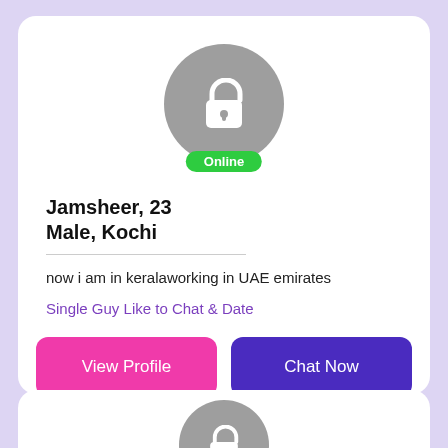[Figure (photo): Gray avatar circle with white lock icon and green Online badge below]
Jamsheer, 23
Male, Kochi
now i am in keralaworking in UAE emirates
Single Guy Like to Chat & Date
View Profile
Chat Now
[Figure (photo): Gray avatar circle with white lock icon, partially visible at bottom]